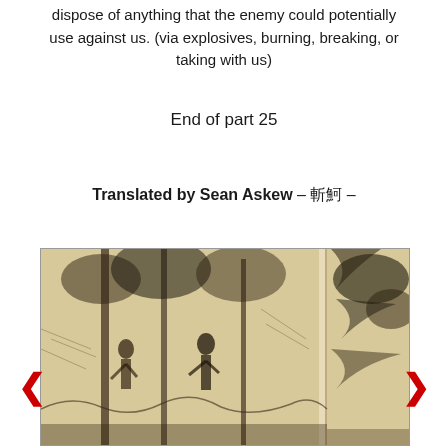dispose of anything that the enemy could potentially use against us. (via explosives, burning, breaking, or taking with us)
End of part 25
Translated by Sean Askew  –  棄頂  –
[Figure (illustration): Historical woodblock or engraving-style illustration showing figures among trees, detailed black and white line art depicting a forest scene with people]